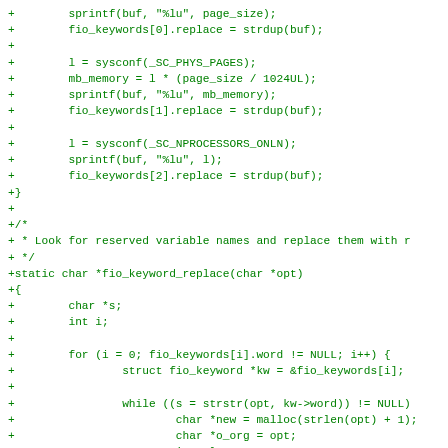[Figure (other): C source code diff showing additions (green + prefix) for sprintf, fio_keywords, sysconf calls, and fio_keyword_replace function implementation]